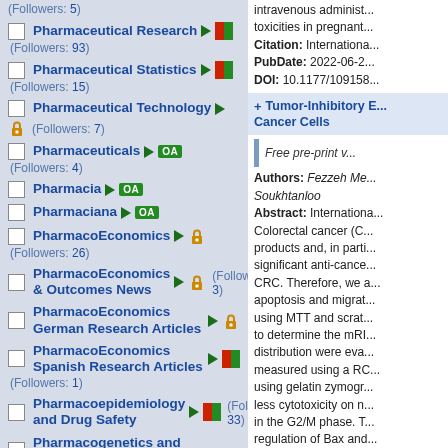(Followers: 5)
Pharmaceutical Research ► [half-icon] (Followers: 93)
Pharmaceutical Statistics ► [half-icon] (Followers: 15)
Pharmaceutical Technology ► [lock] (Followers: 7)
Pharmaceuticals ► OA (Followers: 4)
Pharmacia ► OA
Pharmaciana ► OA
PharmacoEconomics ► [lock] (Followers: 26)
PharmacoEconomics & Outcomes News ► [lock] (Followers: 3)
PharmacoEconomics German Research Articles ► [lock]
PharmacoEconomics Spanish Research Articles ► [half-icon] (Followers: 1)
Pharmacoepidemiology and Drug Safety ► [half-icon] (Followers: 33)
Pharmacogenetics and Genomics
intravenous administ... toxicities in pregnant...
Citation: Internationa...
PubDate: 2022-06-2...
DOI: 10.1177/109158...
Tumor-Inhibitory E... Cancer Cells
Free pre-print v...
Authors: Fezzeh Me... Soukhtanloo
Abstract: Internationa... Colorectal cancer (C... products and, in parti... significant anti-cance... CRC. Therefore, we a... apoptosis and migrat... using MTT and scrat... to determine the mRI... distribution were eva... measured using a RC... using gelatin zymogr... less cytotoxicity on n... in the G2/M phase. T... regulation of Bax and... cells. Furthermore, z... expression and activi... metastasis in HT-29 ...
Citation: